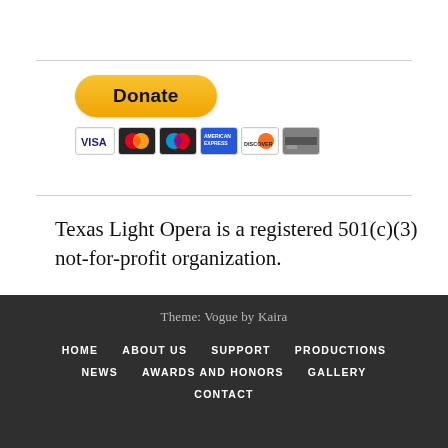[Figure (other): PayPal Donate button with payment card icons (Visa, Mastercard, Maestro, American Express, Discover, generic card)]
Texas Light Opera is a registered 501(c)(3) not-for-profit organization.
Theme: Vogue by Kaira
HOME   ABOUT US   SUPPORT   PRODUCTIONS
NEWS   AWARDS AND HONORS   GALLERY
CONTACT